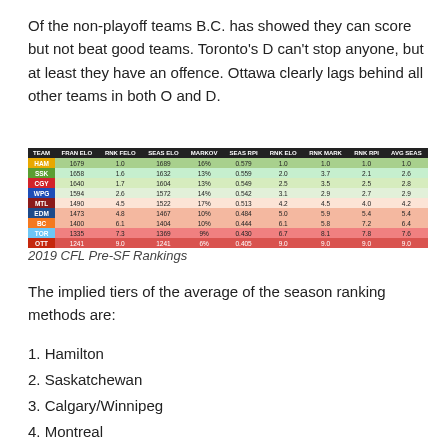Of the non-playoff teams B.C. has showed they can score but not beat good teams. Toronto's D can't stop anyone, but at least they have an offence. Ottawa clearly lags behind all other teams in both O and D.
| TEAM | FRAN ELO | RNK FELO | SEAS ELO | MARKOV | SEAS RPI | RNK ELO | RNK MARK | RNK RPI | AVG SEAS |
| --- | --- | --- | --- | --- | --- | --- | --- | --- | --- |
| HAM | 1679 | 1.0 | 1689 | 16% | 0.579 | 1.0 | 1.0 | 1.0 | 1.0 |
| SSK | 1658 | 1.6 | 1632 | 13% | 0.559 | 2.0 | 3.7 | 2.1 | 2.6 |
| CGY | 1640 | 1.7 | 1604 | 13% | 0.549 | 2.5 | 3.5 | 2.5 | 2.8 |
| WPG | 1594 | 2.6 | 1572 | 14% | 0.542 | 3.1 | 2.9 | 2.7 | 2.9 |
| MTL | 1490 | 4.5 | 1522 | 17% | 0.513 | 4.2 | 4.5 | 4.0 | 4.2 |
| EDM | 1473 | 4.8 | 1467 | 10% | 0.484 | 5.0 | 5.9 | 5.4 | 5.4 |
| BC | 1400 | 6.1 | 1404 | 10% | 0.444 | 6.1 | 5.8 | 7.2 | 6.4 |
| TOR | 1335 | 7.3 | 1369 | 9% | 0.430 | 6.7 | 8.1 | 7.8 | 7.6 |
| OTT | 1241 | 9.0 | 1241 | 6% | 0.405 | 9.0 | 9.0 | 9.0 | 9.0 |
2019 CFL Pre-SF Rankings
The implied tiers of the average of the season ranking methods are:
1. Hamilton
2. Saskatchewan
3. Calgary/Winnipeg
4. Montreal